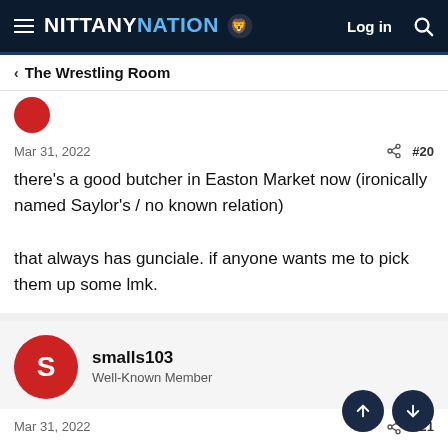NITTANY NATION — Log in
< The Wrestling Room
Mar 31, 2022   #20
there's a good butcher in Easton Market now (ironically named Saylor's / no known relation)

that always has gunciale. if anyone wants me to pick them up some lmk.
smalls103
Well-Known Member
Mar 31, 2022   #21